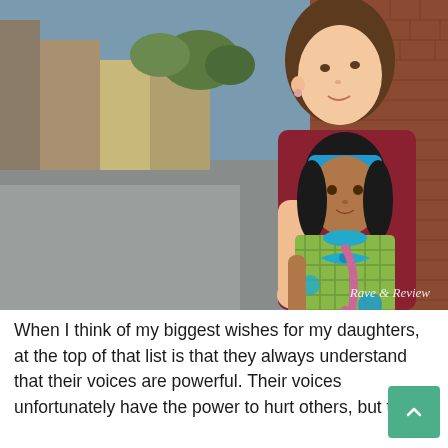[Figure (photo): A young girl with brown hair leans against a brick wall on a city sidewalk, holding an American Girl doll with dark hair wearing a green plaid dress with a blue bow. The doll and girl face the camera. A watermark reads 'Rave & Review' in the lower right corner of the photo.]
When I think of my biggest wishes for my daughters, at the top of that list is that they always understand that their voices are powerful. Their voices unfortunately have the power to hurt others, but they